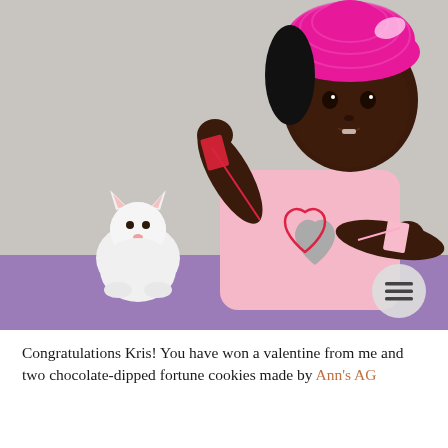[Figure (photo): An American Girl doll with dark skin wearing a pink crocheted beret and pink t-shirt with a heart design, holding valentine decorations, posed with a small white stuffed cat on a purple surface. A circular grey menu button with three horizontal lines is visible in the lower right corner of the photo.]
Congratulations Kris! You have won a valentine from me and two chocolate-dipped fortune cookies made by Ann's AG